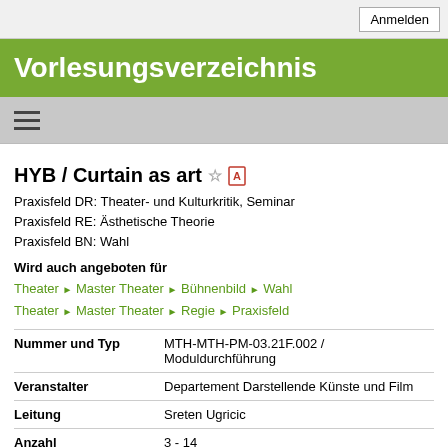Anmelden
Vorlesungsverzeichnis
HYB / Curtain as art
Praxisfeld DR: Theater- und Kulturkritik, Seminar
Praxisfeld RE: Ästhetische Theorie
Praxisfeld BN: Wahl
Wird auch angeboten für
Theater ▶ Master Theater ▶ Bühnenbild ▶ Wahl
Theater ▶ Master Theater ▶ Regie ▶ Praxisfeld
| Nummer und Typ | MTH-MTH-PM-03.21F.002 / Moduldurchführung |
| --- | --- |
| Veranstalter | Departement Darstellende Künste und Film |
| Leitung | Sreten Ugricic |
| Anzahl Teilnehmende | 3 - 14 |
| ECTS | 3 Credits |